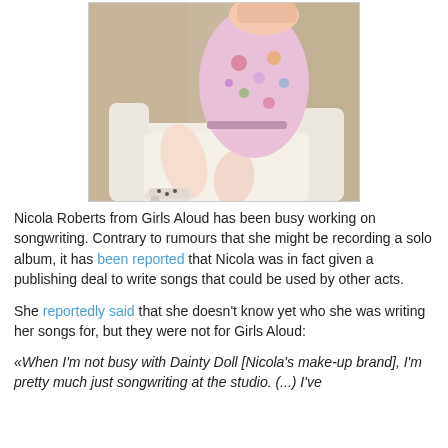[Figure (photo): Photo of a woman in a floral dress sitting on a white/cream sofa or chair, legs crossed, wearing heeled shoes. Background appears to be a beige/tan curtain.]
Nicola Roberts from Girls Aloud has been busy working on songwriting. Contrary to rumours that she might be recording a solo album, it has been reported that Nicola was in fact given a publishing deal to write songs that could be used by other acts.
She reportedly said that she doesn't know yet who she was writing her songs for, but they were not for Girls Aloud:
«When I'm not busy with Dainty Doll [Nicola's make-up brand], I'm pretty much just songwriting at the studio. (...) I've